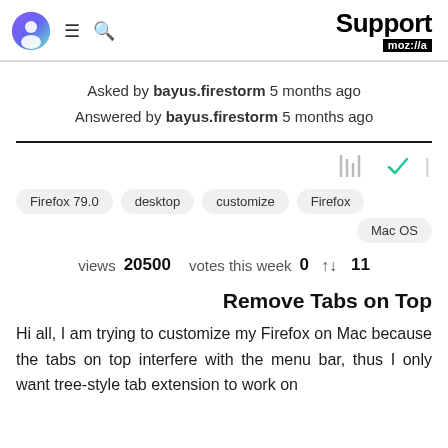Support moz://a
Asked by bayus.firestorm 5 months ago
Answered by bayus.firestorm 5 months ago
Firefox 79.0  desktop  customize  Firefox  Mac OS
views 20500  votes this week 0  11
Remove Tabs on Top
Hi all, I am trying to customize my Firefox on Mac because the tabs on top interfere with the menu bar, thus I only want tree-style tab extension to work on